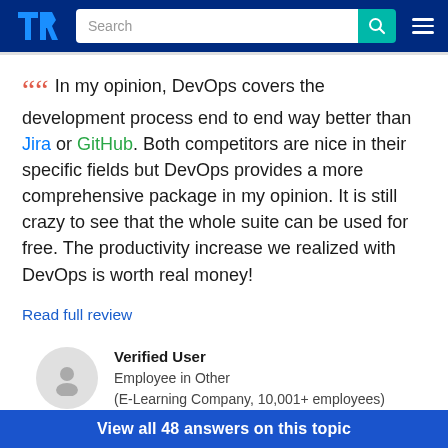[Figure (screenshot): TrustRadius website header with logo, search bar, and hamburger menu on dark blue background]
In my opinion, DevOps covers the development process end to end way better than Jira or GitHub. Both competitors are nice in their specific fields but DevOps provides a more comprehensive package in my opinion. It is still crazy to see that the whole suite can be used for free. The productivity increase we realized with DevOps is worth real money!
Read full review
Verified User
Employee in Other
(E-Learning Company, 10,001+ employees)
View all 48 answers on this topic